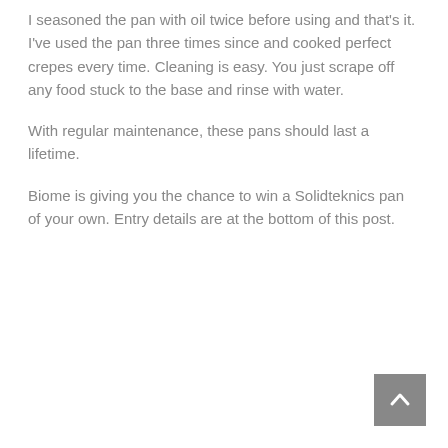I seasoned the pan with oil twice before using and that's it. I've used the pan three times since and cooked perfect crepes every time. Cleaning is easy. You just scrape off any food stuck to the base and rinse with water.
With regular maintenance, these pans should last a lifetime.
Biome is giving you the chance to win a Solidteknics pan of your own. Entry details are at the bottom of this post.